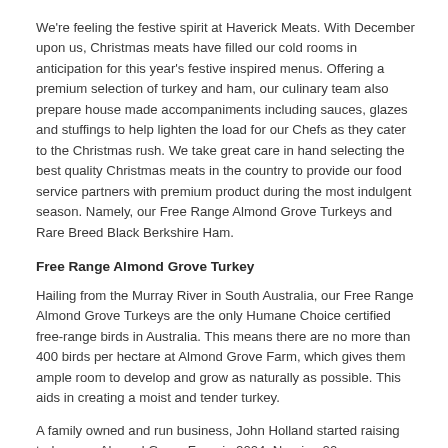We're feeling the festive spirit at Haverick Meats. With December upon us, Christmas meats have filled our cold rooms in anticipation for this year's festive inspired menus. Offering a premium selection of turkey and ham, our culinary team also prepare house made accompaniments including sauces, glazes and stuffings to help lighten the load for our Chefs as they cater to the Christmas rush. We take great care in hand selecting the best quality Christmas meats in the country to provide our food service partners with premium product during the most indulgent season. Namely, our Free Range Almond Grove Turkeys and Rare Breed Black Berkshire Ham.
Free Range Almond Grove Turkey
Hailing from the Murray River in South Australia, our Free Range Almond Grove Turkeys are the only Humane Choice certified free-range birds in Australia. This means there are no more than 400 birds per hectare at Almond Grove Farm, which gives them ample room to develop and grow as naturally as possible. This aids in creating a moist and tender turkey.
A family owned and run business, John Holland started raising turkeys on Almond Grove Farm in 2004. Nearing 20 years